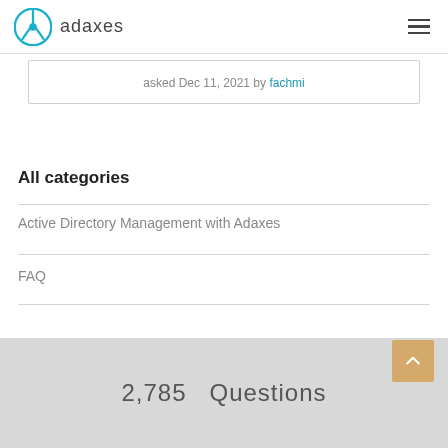adaxes
asked Dec 11, 2021 by fachmi
All categories
Active Directory Management with Adaxes
FAQ
2,785 Questions